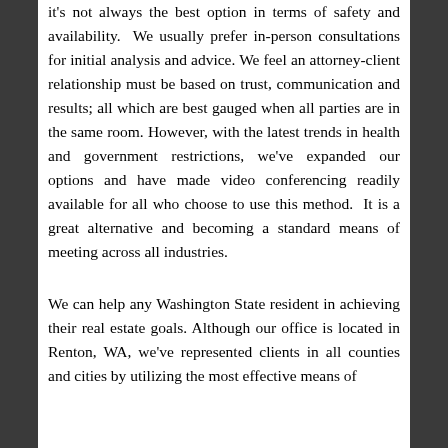it's not always the best option in terms of safety and availability.  We usually prefer in-person consultations for initial analysis and advice. We feel an attorney-client relationship must be based on trust, communication and results; all which are best gauged when all parties are in the same room. However, with the latest trends in health and government restrictions, we've expanded our options and have made video conferencing readily available for all who choose to use this method.  It is a great alternative and becoming a standard means of meeting across all industries.
We can help any Washington State resident in achieving their real estate goals. Although our office is located in Renton, WA, we've represented clients in all counties and cities by utilizing the most effective means of